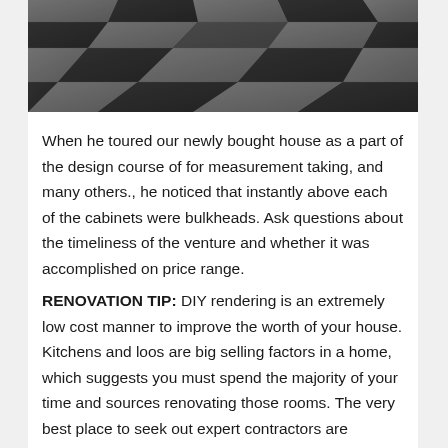[Figure (photo): Checkered floor tiles in dark grey and light grey pattern, viewed from above at an angle]
When he toured our newly bought house as a part of the design course of for measurement taking, and many others., he noticed that instantly above each of the cabinets were bulkheads. Ask questions about the timeliness of the venture and whether it was accomplished on price range.
RENOVATION TIP: DIY rendering is an extremely low cost manner to improve the worth of your house. Kitchens and loos are big selling factors in a home, which suggests you must spend the majority of your time and sources renovating those rooms. The very best place to seek out expert contractors are referrals from household or buddies that have